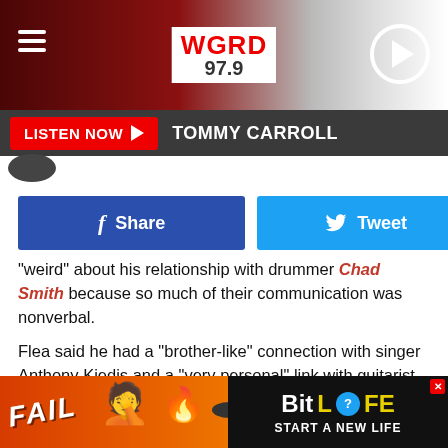WGRD 97.9 — LISTEN NOW ▶ TOMMY CARROLL
[Figure (screenshot): Facebook Share button and Twitter Tweet button side by side]
"weird" about his relationship with drummer Chad Smith because so much of their communication was nonverbal.
Flea said he had a “brother-like” connection with singer Anthony Kiedis and a “very personal” link with guitarist John Frusciante, but things were always different with Smith.
“We don’t hang out outside of the band, never have, like probably…
[Figure (screenshot): BitLife advertisement banner at bottom of page — FAIL text, animated girl graphic, flames, BitLife logo, START A NEW LIFE text]